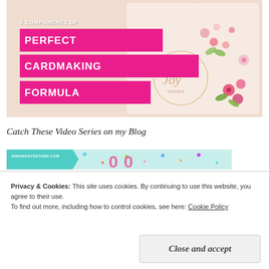[Figure (illustration): Cardmaking promotional image with pink banner text reading '5 COMPONENTS OF PERFECT CARDMAKING FORMULA' on a beige background with floral card decorations]
Catch These Video Series on my Blog
[Figure (screenshot): Partial view of a colorful confetti-themed blog banner image]
Privacy & Cookies: This site uses cookies. By continuing to use this website, you agree to their use.
To find out more, including how to control cookies, see here: Cookie Policy
Close and accept